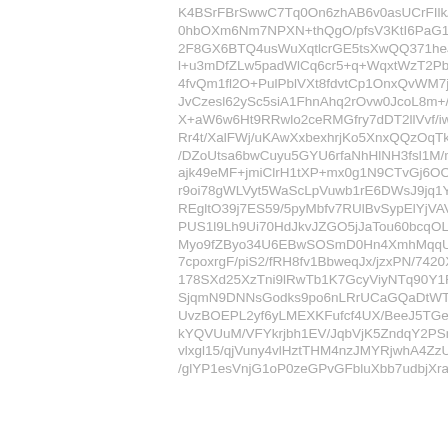K4BSrFBrSwwC7Tq0On6zhAB6v0asUCrFIlk/YYc
0hbOXm6Nm7NPXN+thQgO/pfsV3KtI6PaG1y7dra
2F8GX6BTQ4usWuXqtlcrGE5tsXwQQ371heJHZ26
l+u3mDfZLw5padWlCq6cr5+q+WqxtWzT2Pbau57l
4fvQm1fl2O+PulPblVXt8fdvtCp1OnxQvWM7jA2/N
JvCzesl62ySc5siA1FhnAhq2rOvw0JcoL8m+/HSu
X+aW6w6Ht9RRwlo2ceRMGfry7dDT2llVvf/iw/lW
Rr4t/XalFWj/uKAwXxbexhrjKo5XnxQQzOqTk6flZ
/DZoUtsa6bwCuyu5GYU6rfaNhHlNH3fsl1M/m2M
ajk49eMF+jmiClrH1tXP+mx0g1N9CTvGj6OOO/S+o
r9oi78gWLVyt5WaScLpVuwb1rE6DWsJ9jq1YukG8
REgltO39j7ES59/5pyMbfv7RUlBvSypElYjVAVSGO
PUS1l9Lh9Ui70HdJkvJZGO5jJaTou60bcqOLOg6l
Myo9fZByo34U6EBwSOSmD0Hn4XmhMqqUSqC
7cpoxrgF/piS2/fRH8fv1BbweqJx/jzxPN/7420Xq
178SXd25XzTni9lRwTb1K7GcyViyNTq90Y1R96Pui
SjqmN9DNNsGodks9po6nLRrUCaGQaDtWTeMnM
UvzBOEPL2yf6yLMEXKFufcf4UX/BeeJ5TGeMYYv
kYQVUuM/VFYkrjbh1EV/JqbVjK5ZndqY2PSn488
vlxgl15/qjVuny4vlHztTHM4nzJMYRjwhA4ZzUTU:
/glYP1esVnjG1oP0zeGPvGFbluXbb7udbjXraMvB9